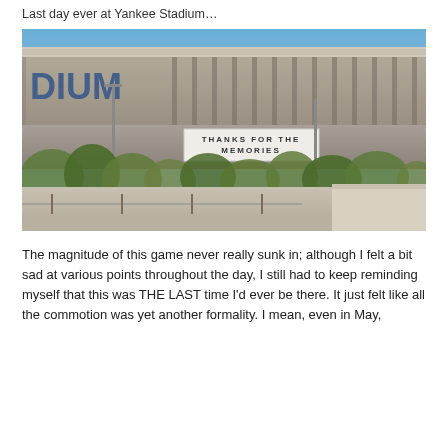Last day ever at Yankee Stadium…
[Figure (photo): Exterior photograph of Yankee Stadium showing the upper facade with letters 'DIUM' visible, a sign reading 'THANKS FOR THE MEMORIES', trees in the foreground, and blue sky above.]
The magnitude of this game never really sunk in; although I felt a bit sad at various points throughout the day, I still had to keep reminding myself that this was THE LAST time I'd ever be there. It just felt like all the commotion was yet another formality. I mean, even in May,